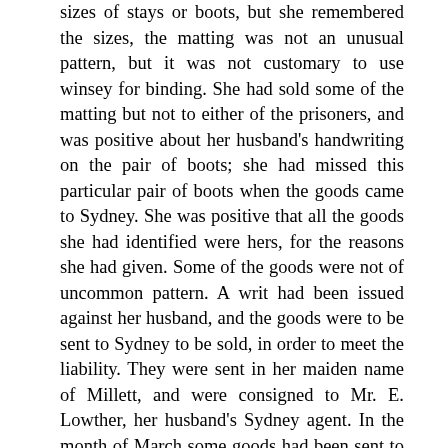sizes of stays or boots, but she remembered the sizes, the matting was not an unusual pattern, but it was not customary to use winsey for binding. She had sold some of the matting but not to either of the prisoners, and was positive about her husband's handwriting on the pair of boots; she had missed this particular pair of boots when the goods came to Sydney. She was positive that all the goods she had identified were hers, for the reasons she had given. Some of the goods were not of uncommon pattern. A writ had been issued against her husband, and the goods were to be sent to Sydney to be sold, in order to meet the liability. They were sent in her maiden name of Millett, and were consigned to Mr. E. Lowther, her husband's Sydney agent. In the month of March some goods had been sent to the house of the prisoner Macdonald, she had done this to make